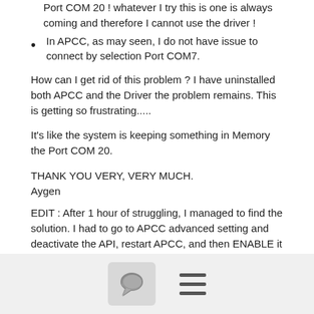Port COM 20 ! whatever I try this is one is always coming and therefore I cannot use the driver !
In APCC, as may seen, I do not have issue to connect by selection Port COM7.
How can I get rid of this problem ? I have uninstalled both APCC and the Driver the problem remains. This is getting so frustrating.....
It's like the system is keeping something in Memory the Port COM 20.
THANK YOU VERY, VERY MUCH.
Aygen
EDIT : After 1 hour of struggling, I managed to find the solution. I had to go to APCC advanced setting and deactivate the API, restart APCC, and then ENABLE it again in order for the Driver to update ! This is just insane. I still don't get it why the Driver kept behaving like this. Sorry for the "bulk mail".
[Figure (other): Footer bar with a comment/chat icon button and a hamburger menu icon]